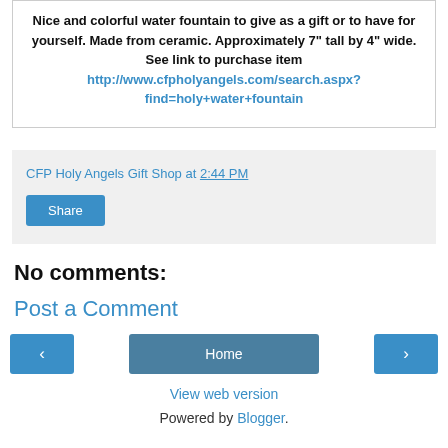Nice and colorful water fountain to give as a gift or to have for yourself. Made from ceramic. Approximately 7" tall by 4" wide. See link to purchase item http://www.cfpholyangels.com/search.aspx?find=holy+water+fountain
CFP Holy Angels Gift Shop at 2:44 PM
Share
No comments:
Post a Comment
‹
Home
›
View web version
Powered by Blogger.